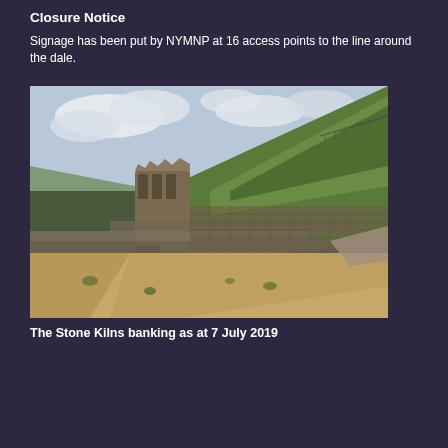Closure Notice
Signage has been put by NYMNP at 16 access points to the line around the dale.
[Figure (photo): Photograph of the Stone Kilns banking showing stone ruins and terraced retaining walls on a grassy hillside, taken on 7 July 2019.]
The Stone Kilns banking as at 7 July 2019